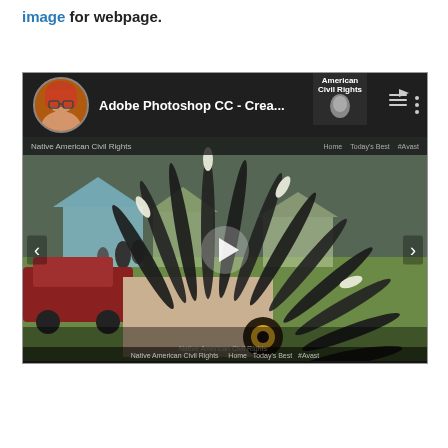image for webpage.
[Figure (screenshot): A YouTube/video player screenshot showing 'Adobe Photoshop CC - Crea...' video with a Native American headdress feathers in foreground and a camping/outdoor scene in background. Has channel avatar of a woman with red hair, play button overlay, navigation arrows, and 'American Civil Rights' overlay in corner.]